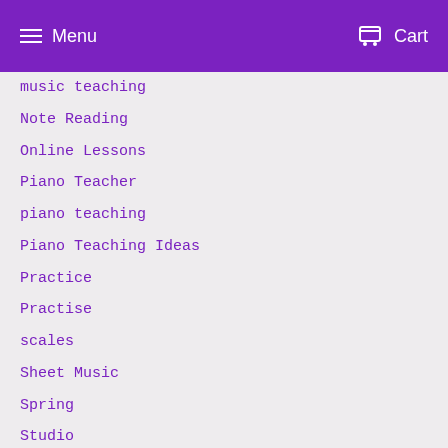Menu  Cart
music teaching
Note Reading
Online Lessons
Piano Teacher
piano teaching
Piano Teaching Ideas
Practice
Practise
scales
Sheet Music
Spring
Studio
Summer
technical work